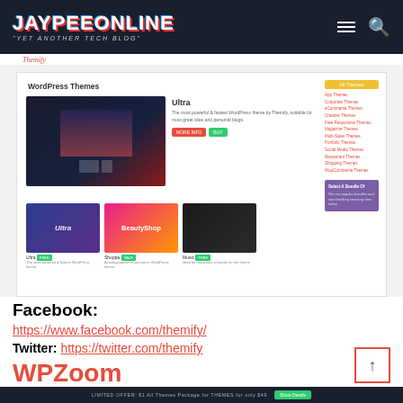JAYPEEONLINE "YET ANOTHER TECH BLOG"
[Figure (screenshot): Screenshot of Themify WordPress Themes page showing Ultra theme preview, theme thumbnails (Ultra, Shoppe, Music), and sidebar navigation with theme categories and a purple promotional box]
Themify
Facebook:
https://www.facebook.com/themify/
Twitter: https://twitter.com/themify
WPZoom
LIMITED OFFER: $1 All Themes Package for THEMES for only $49  Show Details